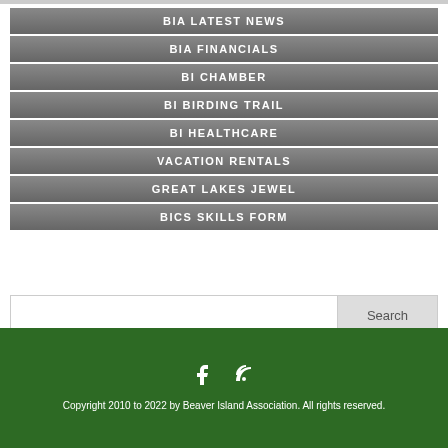BIA LATEST NEWS
BIA FINANCIALS
BI CHAMBER
BI BIRDING TRAIL
BI HEALTHCARE
VACATION RENTALS
GREAT LAKES JEWEL
BICS SKILLS FORM
Search
Copyright 2010 to 2022 by Beaver Island Association. All rights reserved.